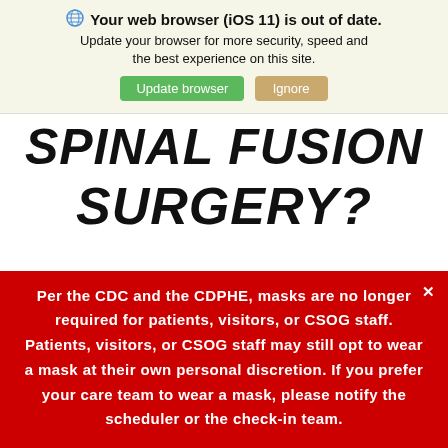Your web browser (iOS 11) is out of date. Update your browser for more security, speed and the best experience on this site. [Update browser] [Ignore]
SPINAL FUSION SURGERY?
As with any surgery, there are always potential risks involved. It is important for you to weigh these risks
Per the CDC and the CDPHE, masks are no longer required for patients, visitors, or CSOG staff. Patients, visitors, or CSOG staff may still opt to wear a mask at their own personal discretion. If you prefer your care team to wear a mask, please notify the scheduler or the check-in team.